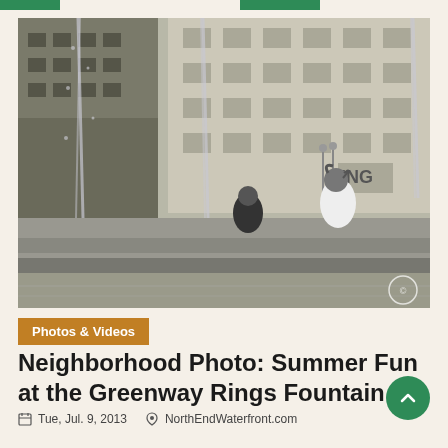[Figure (photo): Black and white photograph of children playing at the Greenway Rings Fountain in Boston, with water jets spraying upward and city buildings in the background. A child in white clothing is jumping while another sits on stone steps.]
Photos & Videos
Neighborhood Photo: Summer Fun at the Greenway Rings Fountain
Tue, Jul. 9, 2013   NorthEndWaterfront.com